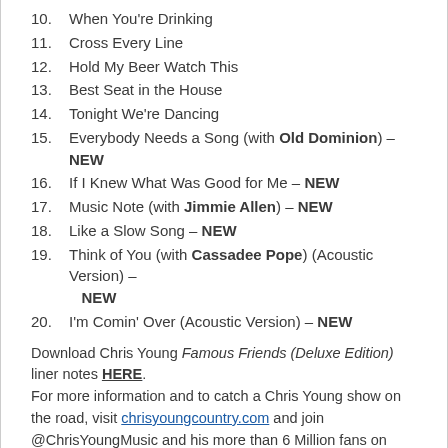10. When You're Drinking
11. Cross Every Line
12. Hold My Beer Watch This
13. Best Seat in the House
14. Tonight We're Dancing
15. Everybody Needs a Song (with Old Dominion) – NEW
16. If I Knew What Was Good for Me – NEW
17. Music Note (with Jimmie Allen) – NEW
18. Like a Slow Song – NEW
19. Think of You (with Cassadee Pope) (Acoustic Version) – NEW
20. I'm Comin' Over (Acoustic Version) – NEW
Download Chris Young Famous Friends (Deluxe Edition) liner notes HERE. For more information and to catch a Chris Young show on the road, visit chrisyoungcountry.com and join @ChrisYoungMusic and his more than 6 Million fans on TikTok, Instagram, Facebook